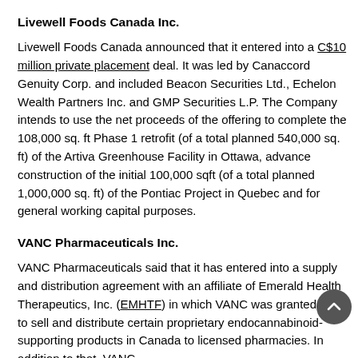Livewell Foods Canada Inc.
Livewell Foods Canada announced that it entered into a C$10 million private placement deal. It was led by Canaccord Genuity Corp. and included Beacon Securities Ltd., Echelon Wealth Partners Inc. and GMP Securities L.P. The Company intends to use the net proceeds of the offering to complete the 108,000 sq. ft Phase 1 retrofit (of a total planned 540,000 sq. ft) of the Artiva Greenhouse Facility in Ottawa, advance construction of the initial 100,000 sqft (of a total planned 1,000,000 sq. ft) of the Pontiac Project in Quebec and for general working capital purposes.
VANC Pharmaceuticals Inc.
VANC Pharmaceuticals said that it has entered into a supply and distribution agreement with an affiliate of Emerald Health Therapeutics, Inc. (EMHTF) in which VANC was granted rights to sell and distribute certain proprietary endocannabinoid-supporting products in Canada to licensed pharmacies. In addition to that, VANC...